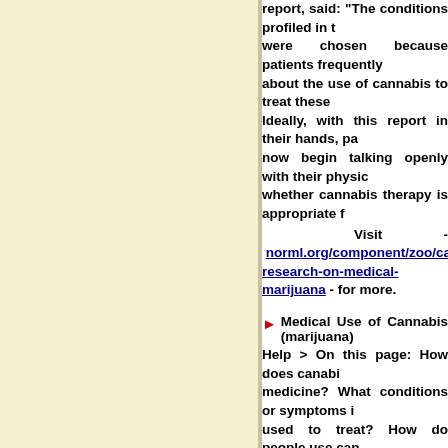report, said: "The conditions profiled in this report were chosen because patients frequently ask about the use of cannabis to treat these conditions. Ideally, with this report in their hands, patients can now begin talking openly with their physicians about whether cannabis therapy is appropriate for them."
Visit - norml.org/component/zoo/category/research-on-medical-marijuana - for more.
Medical Use of Cannabis (marijuana)
Help > On this page: How does cannabis work as medicine? What conditions or symptoms is it used to treat? How do people use cannabis for medical purposes? What is pharmaceutical cannabis and how does it compare to herbal cannabis? What are the side effects and risks of using cannabis to treat symptoms or medical conditions? Drug interactions Quality Is using cannabis for medical purposes legal? What are compassion clubs? What are some barriers to using cannabis for medical purposes? What to do if you or someone you know needs more information about medical cannabis?
Visit - heretohelp.bc.ca/factsheet/medical-cannabis - for more.